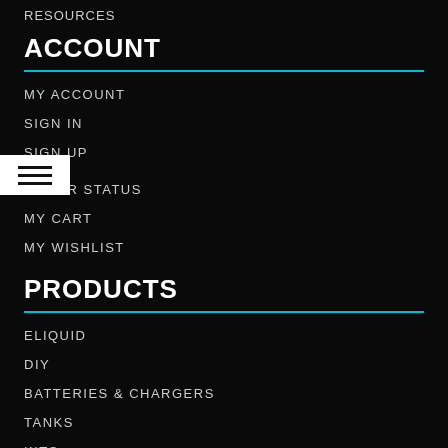RESOURCES
ACCOUNT
MY ACCOUNT
SIGN IN
SIGN UP
ORDER STATUS
MY CART
MY WISHLIST
PRODUCTS
ELIQUID
DIY
BATTERIES & CHARGERS
TANKS
KITS
MODS & DRAIS